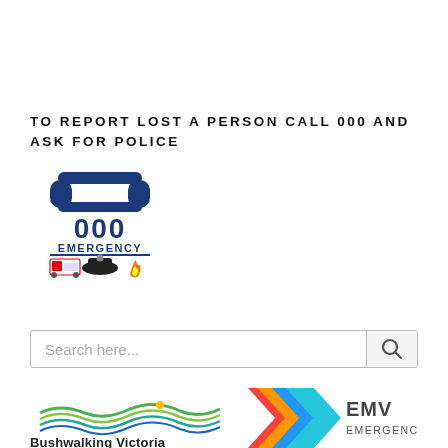TO REPORT LOST A PERSON CALL 000 AND ASK FOR POLICE
[Figure (logo): 000 Emergency logo with telephone receiver icon and emergency service icons (ambulance, police hat, fire)]
[Figure (other): Search bar with magnifying glass icon and placeholder text 'Search here...']
[Figure (logo): Bushwalking Victoria logo with colourful wave lines and text 'Bushwalking Victoria']
[Figure (logo): EMV Emergency logo with colourful chevron/arrow shape and text 'EMV EMERGENCY']